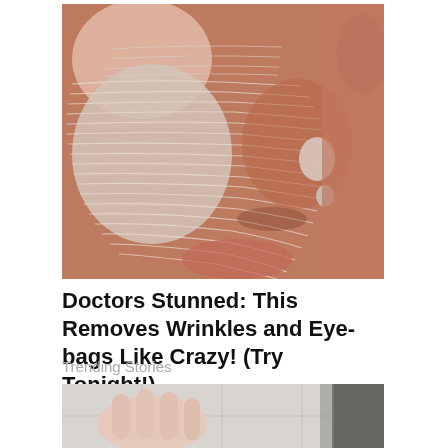[Figure (photo): Close-up photo of a person's face with a white/gray textured clay or peel-off face mask applied, showing skin wrinkles and texture through the mask. The nose area shows the mask partially applied.]
Doctors Stunned: This Removes Wrinkles and Eye-bags Like Crazy! (Try Tonight!)
Trending Stories
[Figure (photo): Photo of a person's hand/fingers, appears to show fingers against a light tiled background.]